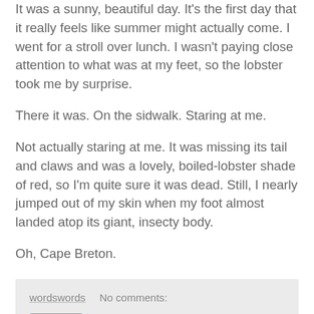It was a sunny, beautiful day. It's the first day that it really feels like summer might actually come. I went for a stroll over lunch. I wasn't paying close attention to what was at my feet, so the lobster took me by surprise.
There it was. On the sidwalk. Staring at me.
Not actually staring at me. It was missing its tail and claws and was a lovely, boiled-lobster shade of red, so I'm quite sure it was dead. Still, I nearly jumped out of my skin when my foot almost landed atop its giant, insecty body.
Oh, Cape Breton.
wordswords   No comments:
The Walk
A comic worth reading.